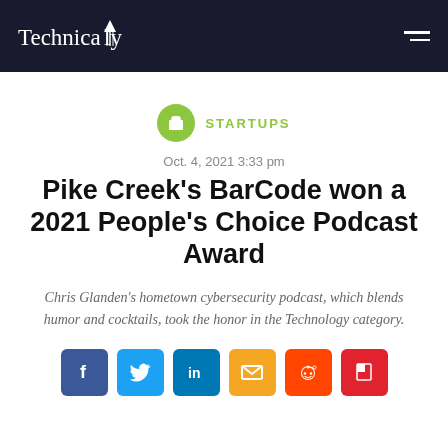Technically
STARTUPS
Oct. 4, 2021 3:33 pm
Pike Creek’s BarCode won a 2021 People’s Choice Podcast Award
Chris Glanden’s hometown cybersecurity podcast, which blends humor and cocktails, took the honor in the Technology category.
[Figure (other): Social share buttons: Facebook, Twitter, LinkedIn, Email, Reddit, Flipboard]